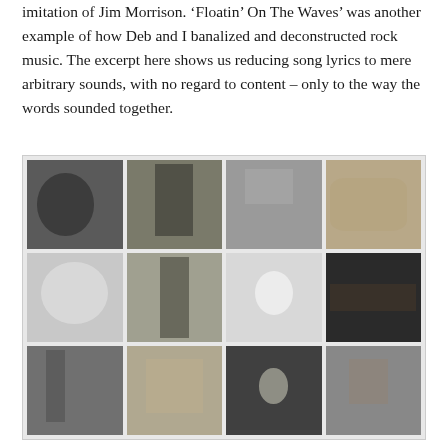imitation of Jim Morrison. 'Floatin' On The Waves' was another example of how Deb and I banalized and deconstructed rock music. The excerpt here shows us reducing song lyrics to mere arbitrary sounds, with no regard to content – only to the way the words sounded together.
[Figure (photo): A grid of 12 black-and-white photographs arranged in 3 rows and 4 columns, showing various candid and artistic shots including people, rooms, and outdoor scenes.]